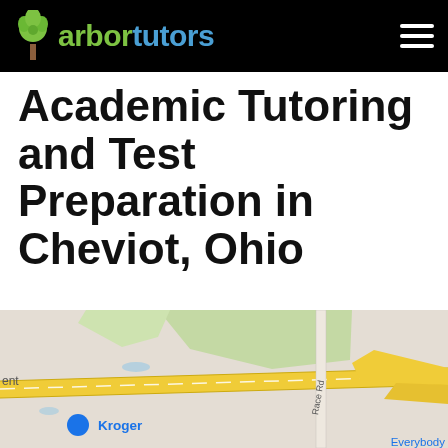arbor tutors
Academic Tutoring and Test Preparation in Cheviot, Ohio
[Figure (map): Google Maps screenshot showing Cheviot, Ohio area with landmarks including Sam's Club, Kroger, La Salle Hi, Monfort Heights, Monfort Heights South, Interstate 74, and Race Rd.]